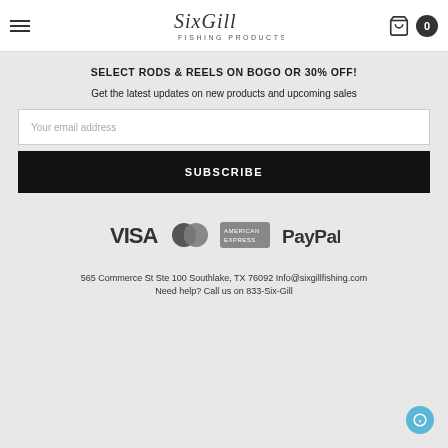SixGill Fishing Products navigation bar
SELECT RODS & REELS ON BOGO OR 30% OFF!
Get the latest updates on new products and upcoming sales
Your email address
SUBSCRIBE
[Figure (logo): Payment method logos: VISA, Mastercard, American Express, PayPal]
565 Commerce St Ste 100 Southlake, TX 76092 Info@sixgillfishing.com
Need help? Call us on 833-Six-Gill